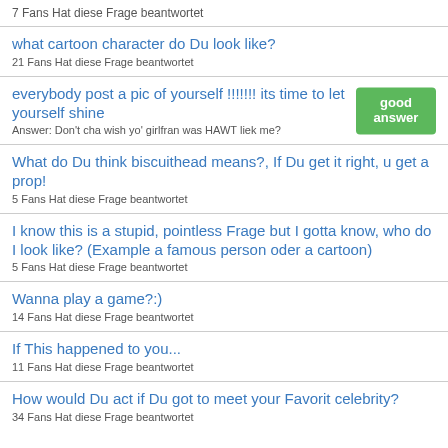7 Fans Hat diese Frage beantwortet
what cartoon character do Du look like?
21 Fans Hat diese Frage beantwortet
everybody post a pic of yourself !!!!!!! its time to let yourself shine
Answer: Don't cha wish yo' girlfran was HAWT liek me?
What do Du think biscuithead means?, If Du get it right, u get a prop!
5 Fans Hat diese Frage beantwortet
I know this is a stupid, pointless Frage but I gotta know, who do I look like? (Example a famous person oder a cartoon)
5 Fans Hat diese Frage beantwortet
Wanna play a game?:)
14 Fans Hat diese Frage beantwortet
If This happened to you...
11 Fans Hat diese Frage beantwortet
How would Du act if Du got to meet your Favorit celebrity?
34 Fans Hat diese Frage beantwortet